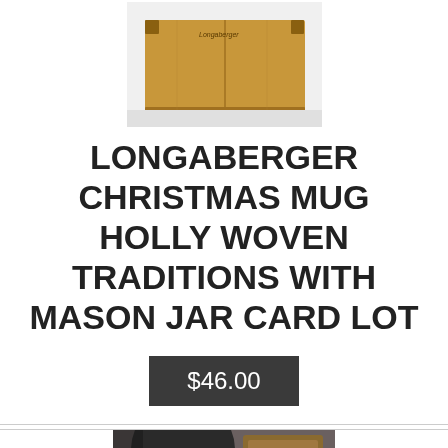[Figure (photo): A cardboard shipping box photographed from above on a white surface, with small text on top reading 'Longaberger']
LONGABERGER CHRISTMAS MUG HOLLY WOVEN TRADITIONS WITH MASON JAR CARD LOT
$46.00
[Figure (photo): Close-up photo of a dark-colored mug and wooden basket/box items]